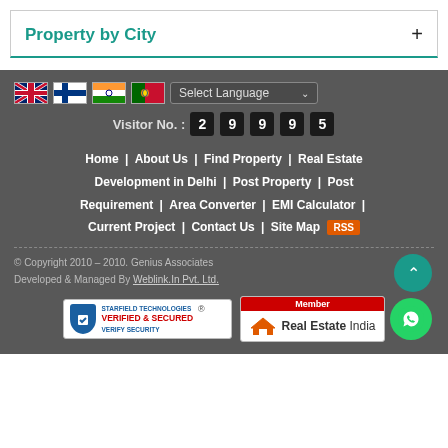Property by City
[Figure (screenshot): Website footer section with language selector flags (UK, Finland, India, Portugal), visitor counter showing 29995, navigation links, copyright info, and trust badges]
Visitor No. : 2 9 9 9 5
Home | About Us | Find Property | Real Estate Development in Delhi | Post Property | Post Requirement | Area Converter | EMI Calculator | Current Project | Contact Us | Site Map RSS
© Copyright 2010 – 2010. Genius Associates
Developed & Managed By Weblink.In Pvt. Ltd.
[Figure (logo): Starfield Technologies Verified & Secured badge]
[Figure (logo): Real Estate India Member badge]